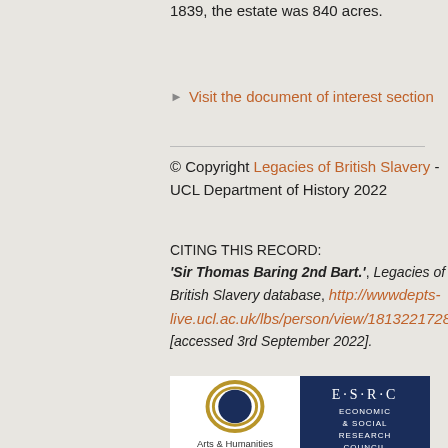1839, the estate was 840 acres.
Visit the document of interest section
© Copyright Legacies of British Slavery - UCL Department of History 2022
CITING THIS RECORD: 'Sir Thomas Baring 2nd Bart.', Legacies of British Slavery database, http://wwwdepts-live.ucl.ac.uk/lbs/person/view/1813221728/ [accessed 3rd September 2022].
[Figure (logo): Arts & Humanities Research Council logo with circular graphic]
[Figure (logo): ESRC Economic & Social Research Council logo on dark blue background]
[Figure (logo): Hutchins Center logo]